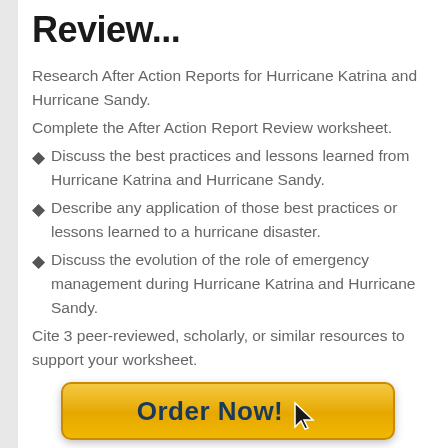Review...
Research After Action Reports for Hurricane Katrina and Hurricane Sandy.
Complete the After Action Report Review worksheet.
Discuss the best practices and lessons learned from Hurricane Katrina and Hurricane Sandy.
Describe any application of those best practices or lessons learned to a hurricane disaster.
Discuss the evolution of the role of emergency management during Hurricane Katrina and Hurricane Sandy.
Cite 3 peer-reviewed, scholarly, or similar resources to support your worksheet.
[Figure (other): Order Now! button in gold/yellow gradient with dark blue bold text and mouse cursor icon]